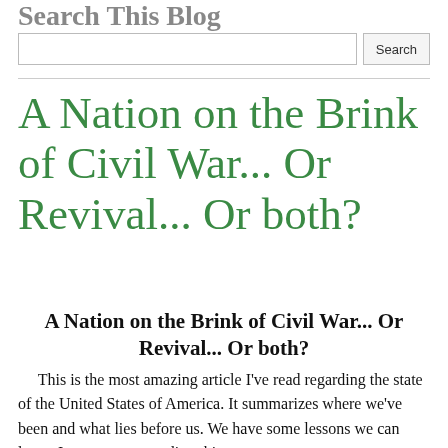Search This Blog
A Nation on the Brink of Civil War... Or Revival... Or both?
A Nation on the Brink of Civil War... Or Revival... Or both?
This is the most amazing article I've read regarding the state of the United States of America. It summarizes where we've been and what lies before us. We have some lessons we can learn. I suggest you reading this.
It's a difficult Thanksgiving season. The nation is deeply divided, facing serious threats abroad and an uncertain economy at home. An unpopular